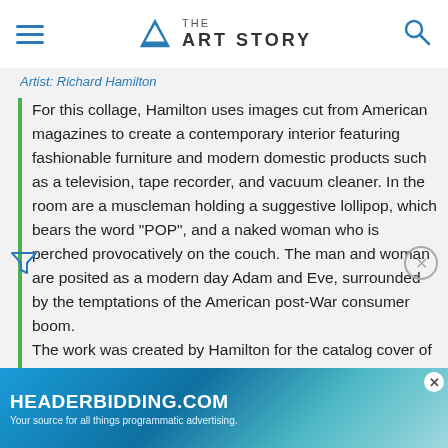THE ART STORY
Artist: Richard Hamilton
For this collage, Hamilton uses images cut from American magazines to create a contemporary interior featuring fashionable furniture and modern domestic products such as a television, tape recorder, and vacuum cleaner. In the room are a muscleman holding a suggestive lollipop, which bears the word "POP", and a naked woman who is perched provocatively on the couch. The man and woman are posited as a modern day Adam and Eve, surrounded by the temptations of the American post-War consumer boom. The work was created by Hamilton for the catalog cover of the seminal 1956 exhibition at London's Whitechapel Gallery "This is Tomorrow"
[Figure (other): Advertisement banner for HEADERBIDDING.COM — 'Your source for all things programmatic advertising.' Blue/teal gradient background.]